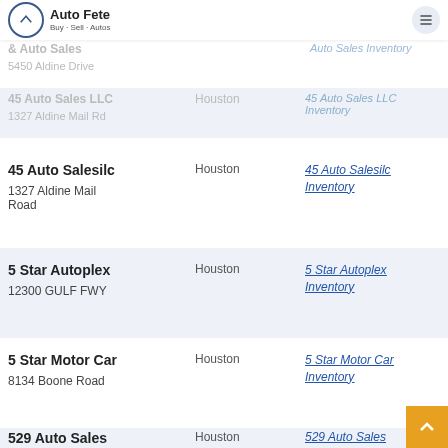Auto Fete - Buy - Sell - Autos
45 Auto Salesilc, 1327 Aldine Mail Road, Houston — 45 Auto Salesilc Inventory
5 Star Autoplex, 12300 GULF FWY, Houston — 5 Star Autoplex Inventory
5 Star Motor Car, 8134 Boone Road, Houston — 5 Star Motor Car Inventory
529 Auto Sales, Houston — 529 Auto Sales Inventory